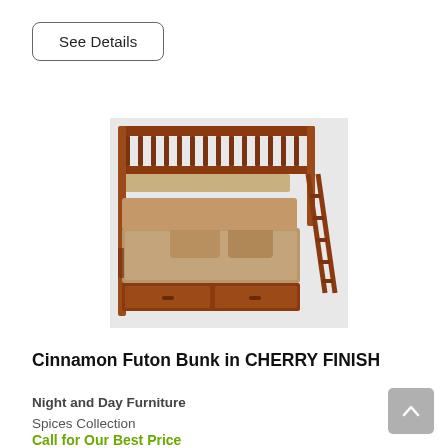See Details
[Figure (photo): A cherry finish bunk bed with a futon/sofa on the bottom bunk and a ladder on the right side. The futon has tan/brown patterned cushions and pillows. The frame is solid wood in a cherry/mahogany finish with slatted headboard and footboard railings.]
Cinnamon Futon Bunk in CHERRY FINISH
Night and Day Furniture
Spices Collection